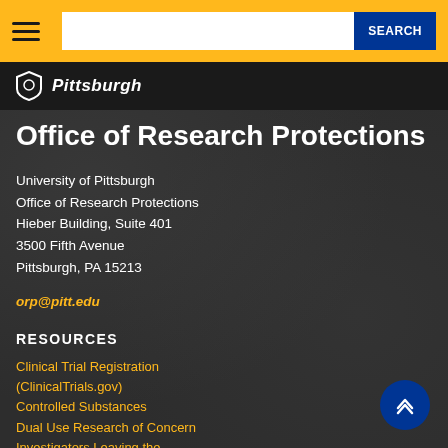SEARCH
[Figure (logo): University of Pittsburgh shield logo with text 'Pittsburgh']
Office of Research Protections
University of Pittsburgh
Office of Research Protections
Hieber Building, Suite 401
3500 Fifth Avenue
Pittsburgh, PA 15213
orp@pitt.edu
RESOURCES
Clinical Trial Registration (ClinicalTrials.gov)
Controlled Substances
Dual Use Research of Concern
Investigators Leaving the University Checklist